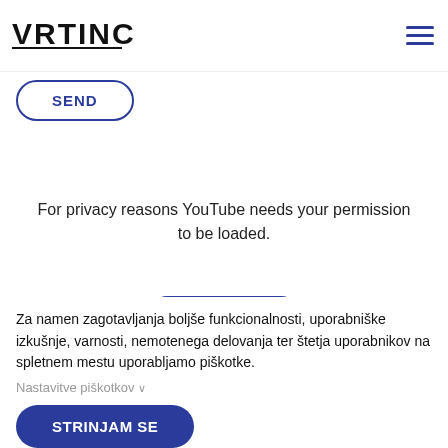VRTINC NAVTIKA
SEND
For privacy reasons YouTube needs your permission to be loaded.
I ACCEPT
Za namen zagotavljanja boljše funkcionalnosti, uporabniške izkušnje, varnosti, nemotenega delovanja ter štetja uporabnikov na spletnem mestu uporabljamo piškotke.
Nastavitve piškotkov ∨
STRINJAM SE